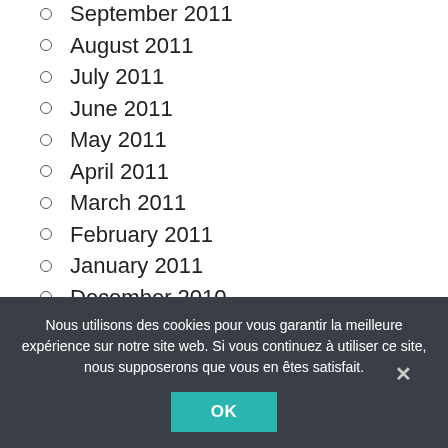September 2011
August 2011
July 2011
June 2011
May 2011
April 2011
March 2011
February 2011
January 2011
December 2010
November 2010
October 2010
September 2010
August 2010
July 2010
Nous utilisons des cookies pour vous garantir la meilleure expérience sur notre site web. Si vous continuez à utiliser ce site, nous supposerons que vous en êtes satisfait.
OK